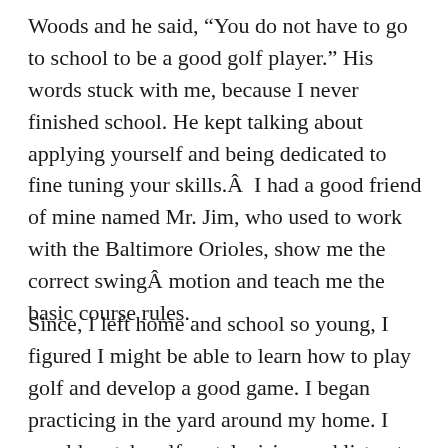Woods and he said, “You do not have to go to school to be a good golf player.” His words stuck with me, because I never finished school. He kept talking about applying yourself and being dedicated to fine tuning your skills.Â  I had a good friend of mine named Mr. Jim, who used to work with the Baltimore Orioles, show me the correct swingÂ motion and teach me the basic course rules.
Since, I left home and school so young, I figured I might be able to learn how to play golf and develop a good game. I began practicing in the yard around my home. I would watch golf on television and listen to different pointers. I began visiting the local golf